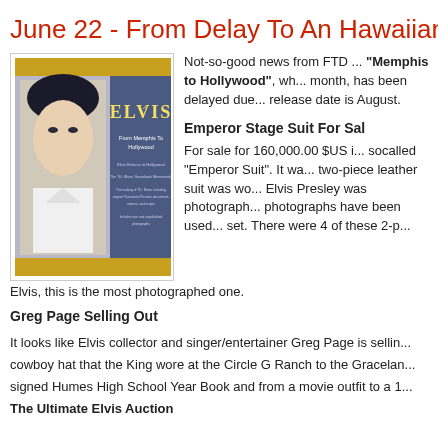June 22 - From Delay To An Hawaiian Sa...
[Figure (photo): Album cover of Elvis Presley 'From Memphis To Hollywood' with Elvis portrait on left and blue title panel on right, framed by gold/yellow border.]
Not-so-good news from FTD ... "Memphis to Hollywood", wh... month, has been delayed due... release date is August.
Emperor Stage Suit For Sa...
For sale for 160,000.00 $US i... socalled "Emperor Suit". It wa... two-piece leather suit was wo... Elvis Presley was photograph... photographs have been used... set. There were 4 of these 2-p...
Elvis, this is the most photographed one.
Greg Page Selling Out
It looks like Elvis collector and singer/entertainer Greg Page is sellin... cowboy hat that the King wore at the Circle G Ranch to the Gracelan... signed Humes High School Year Book and from a movie outfit to a 1...
The Ultimate Elvis Auction